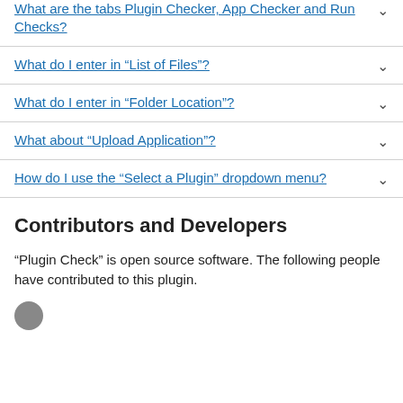What are the tabs Plugin Checker, App Checker and Run Checks?
What do I enter in “List of Files”?
What do I enter in “Folder Location”?
What about “Upload Application”?
How do I use the “Select a Plugin” dropdown menu?
Contributors and Developers
“Plugin Check” is open source software. The following people have contributed to this plugin.